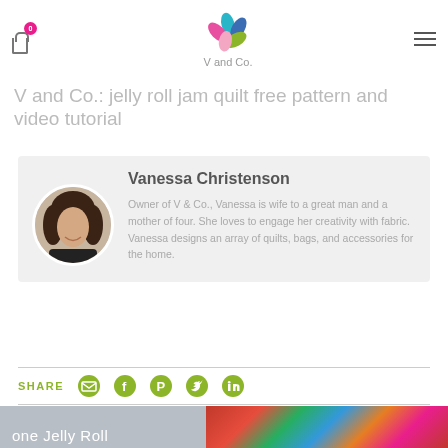V and Co.: jelly roll jam quilt free pattern and video tutorial
V and Co.: jelly roll jam quilt free pattern and video tutorial
Vanessa Christenson
Owner of V & Co., Vanessa is wife to a great man and a mother of four. She loves to engage her creativity with fabric. Vanessa designs an array of quilts, bags, and accessories for the home.
SHARE
[Figure (photo): Folded colorful quilt with red, green, blue, and teal patterned fabrics. Overlay text reads 'one Jelly Roll']